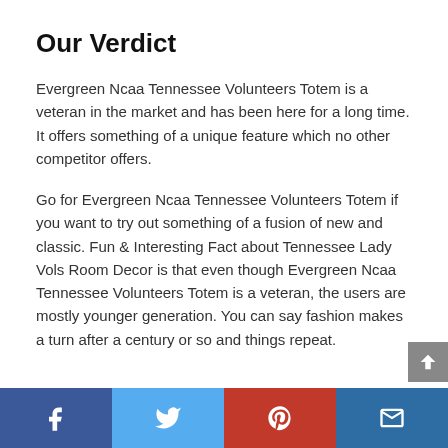Our Verdict
Evergreen Ncaa Tennessee Volunteers Totem is a veteran in the market and has been here for a long time. It offers something of a unique feature which no other competitor offers.
Go for Evergreen Ncaa Tennessee Volunteers Totem if you want to try out something of a fusion of new and classic. Fun & Interesting Fact about Tennessee Lady Vols Room Decor is that even though Evergreen Ncaa Tennessee Volunteers Totem is a veteran, the users are mostly younger generation. You can say fashion makes a turn after a century or so and things repeat.
Facebook | Twitter | Pinterest | Email